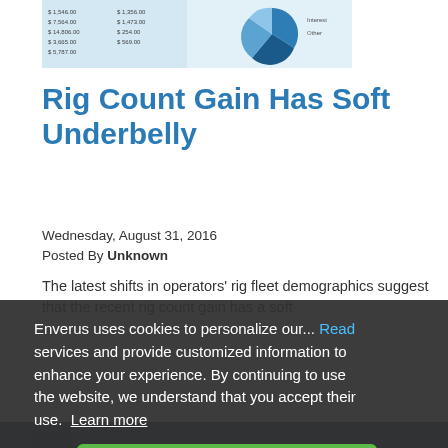[Figure (screenshot): Top partial screenshot of a financial table and pie chart graphic, light blue background]
Rig Count Gain Has Soft Underbelly
Wednesday, August 31, 2016
Posted By Unknown
The latest shifts in operators' rig fleet demographics suggest that the recent rig count gain has a soft underbelly...
Enverus uses cookies to personalize our... Read services and provide customized information to enhance your experience. By continuing to use the website, we understand that you accept their use. Learn more
Ok, got it
[Figure (screenshot): Bottom partial screenshot showing a chart/graph and a BigData logo watermark]